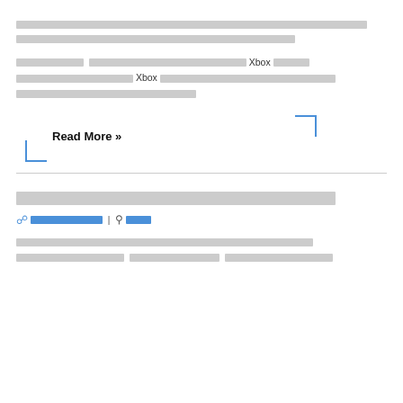[redacted text block - two lines of redacted content]
[redacted text with Xbox references mixed in]
[Read More »]
[redacted section title]
[meta line with redacted author and category links]
[redacted body text lines]